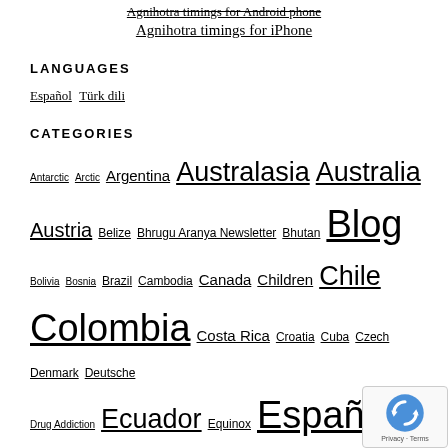Agnihotra timings for Android phone (strikethrough link)
Agnihotra timings for iPhone
LANGUAGES
Español  Türk dili
CATEGORIES
Antarctic  Arctic  Argentina  Australasia  Australia  Austria  Belize  Bhrugu Aranya Newsletter  Bhutan  Blog  Bolivia  Bosnia  Brazil  Cambodia  Canada  Children  Chile  Colombia  Costa Rica  Croatia  Cuba  Czech  Denmark  Deutsche  Drug Addiction  Ecuador  Equinox  Español  Estonia  France  Germany  Ghana  Golden Messages  Greece  Guatemala  India